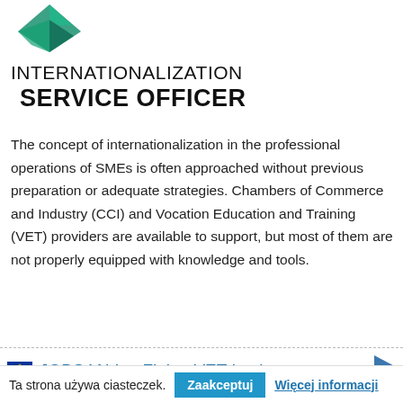[Figure (logo): Green geometric diamond/arrow logo at top]
INTERNATIONALIZATION SERVICE OFFICER
The concept of internationalization in the professional operations of SMEs is often approached without previous preparation or adequate strategies. Chambers of Commerce and Industry (CCI) and Vocation Education and Training (VET) providers are available to support, but most of them are not properly equipped with knowledge and tools.
READ MORE...
JOBS4ALL – Fitting VET-busine
Ta strona używa ciasteczek. Zaakceptuj Więcej informacji